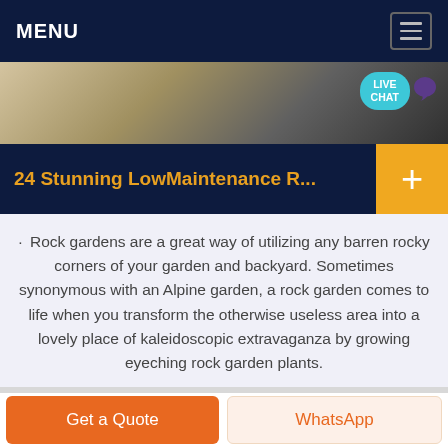MENU
[Figure (photo): Partial interior photo showing shelves or furniture in a dimly lit room, with a teal Live Chat speech bubble overlay in the top right corner]
24 Stunning LowMaintenance R...
Rock gardens are a great way of utilizing any barren rocky corners of your garden and backyard. Sometimes synonymous with an Alpine garden, a rock garden comes to life when you transform the otherwise useless area into a lovely place of kaleidoscopic extravaganza by growing eyeching rock garden plants.
Get a Quote | WhatsApp